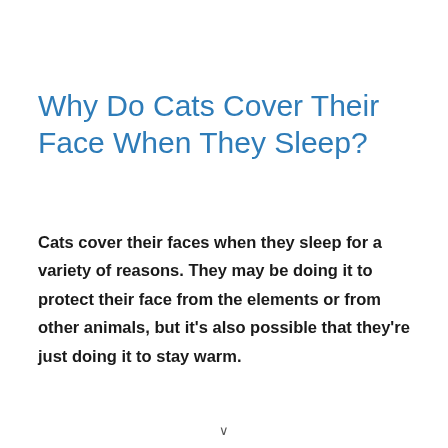Why Do Cats Cover Their Face When They Sleep?
Cats cover their faces when they sleep for a variety of reasons. They may be doing it to protect their face from the elements or from other animals, but it’s also possible that they’re just doing it to stay warm.